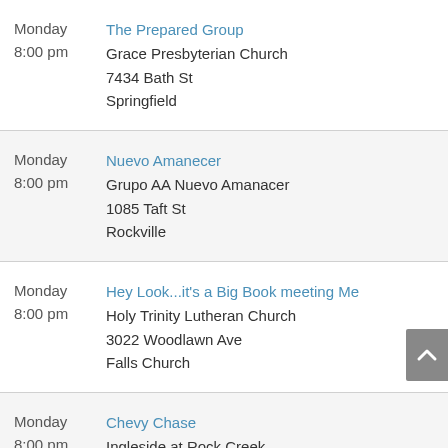Monday 8:00 pm | The Prepared Group | Grace Presbyterian Church | 7434 Bath St | Springfield
Monday 8:00 pm | Nuevo Amanecer | Grupo AA Nuevo Amanacer | 1085 Taft St | Rockville
Monday 8:00 pm | Hey Look...it's a Big Book meeting Me | Holy Trinity Lutheran Church | 3022 Woodlawn Ave | Falls Church
Monday 8:00 pm | Chevy Chase | Ingleside at Rock Creek | 5121 Broad Branch Rd NW | DC: Northwest
Monday 8:00 pm | Capitol Hill | Lutheran Church of the Reformation